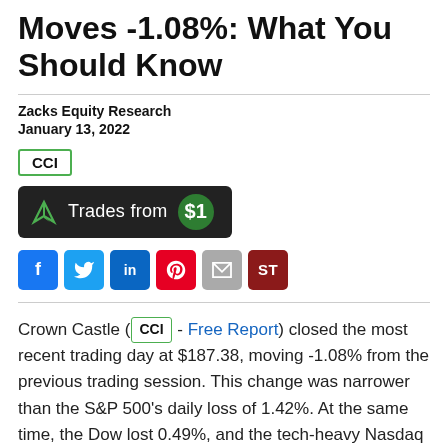Moves -1.08%: What You Should Know
Zacks Equity Research
January 13, 2022
CCI
[Figure (other): Trades from $1 button with share icon and green dollar circle]
[Figure (other): Social sharing buttons: Facebook, Twitter, LinkedIn, Pinterest, Email, ST]
Crown Castle (CCI - Free Report) closed the most recent trading day at $187.38, moving -1.08% from the previous trading session. This change was narrower than the S&P 500's daily loss of 1.42%. At the same time, the Dow lost 0.49%, and the tech-heavy Nasdaq lost 0.47%.